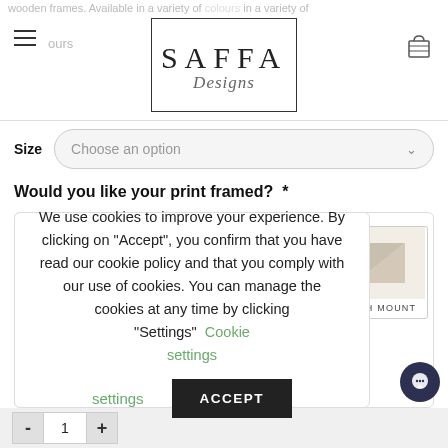wooden frames. Available in a variety of colours in a variety of
[Figure (logo): SAFFA Designs logo with box border]
Size  Choose an option
Would you like your print framed? *
We use cookies to improve your experience. By clicking on "Accept", you confirm that you have read our cookie policy and that you comply with our use of cookies. You can manage the cookies at any time by clicking “Settings”  Cookie settings
ACCEPT
[Figure (illustration): WITH MOUNT - corner mount detail illustration]